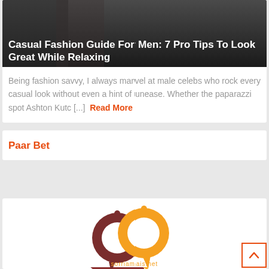[Figure (photo): Dark background hero image with a man in casual attire, partially visible]
Casual Fashion Guide For Men: 7 Pro Tips To Look Great While Relaxing
Being fashion savvy, I always marvel at male celebs who rock every casual look without even a hint of unease. Whether the paparazzi spot Ashton Kutc [...] Read More
Paar Bet
[Figure (logo): sorriamais.net logo — two interlocking speech bubble rings in dark red/maroon and orange, with the website name below in orange text]